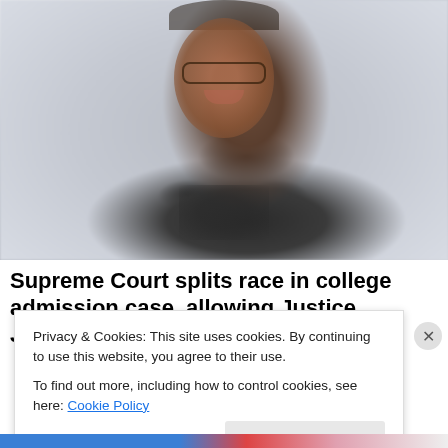[Figure (photo): Photo of a smiling Black woman with glasses and braided hair at a podium with microphones, background blurred]
Supreme Court splits race in college admission case, allowing Justice Jackson to participate
Privacy & Cookies: This site uses cookies. By continuing to use this website, you agree to their use.
To find out more, including how to control cookies, see here: Cookie Policy
Close and accept